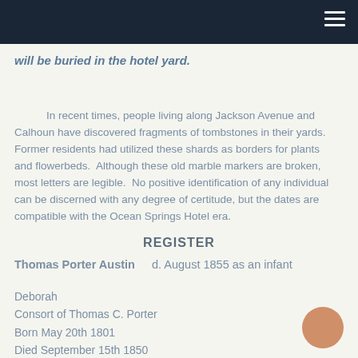will be buried in the hotel yard.
In recent times, people living along Jackson Avenue and Calhoun have discovered fragments of tombstones in their yards. Former residents had utilized these shards as borders for plants and flowerbeds. Although these old marble markers are broken, most letters are legible. No positive identification of any individual can be discerned with any degree of certitude, but the dates are compatible with the Ocean Springs Hotel era.
REGISTER
Thomas Porter Austin     d. August 1855 as an infant
Deborah
Consort of Thomas C. Porter
Born May 20th 1801
Died September 15th 1850